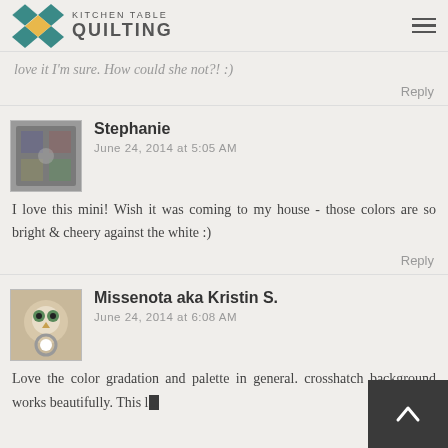Kitchen Table Quilting
love it I'm sure. How could she not?! :)
Reply
Stephanie
June 24, 2014 at 5:05 AM

I love this mini! Wish it was coming to my house - those colors are so bright & cheery against the white :)
Reply
Missenota aka Kristin S.
June 24, 2014 at 6:08 AM

Love the color gradation and palette in general. crosshatch background works beautifully. This l...